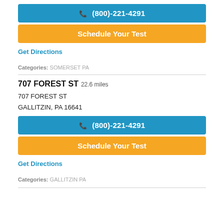(800)-221-4291
Schedule Your Test
Get Directions
Categories: SOMERSET PA
707 FOREST ST 22.6 miles
707 FOREST ST
GALLITZIN, PA 16641
(800)-221-4291
Schedule Your Test
Get Directions
Categories: GALLITZIN PA